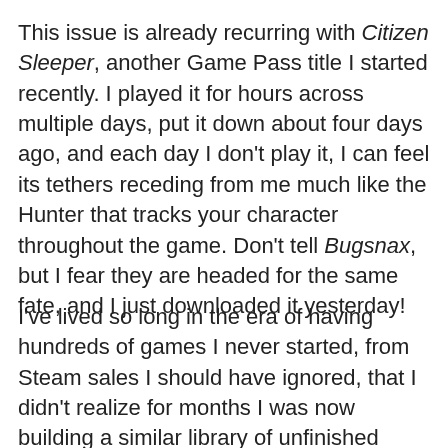This issue is already recurring with Citizen Sleeper, another Game Pass title I started recently. I played it for hours across multiple days, put it down about four days ago, and each day I don't play it, I can feel its tethers receding from me much like the Hunter that tracks your character throughout the game. Don't tell Bugsnax, but I fear they are headed for the same fate, and I just downloaded it yesterday!
I've lived so long in the era of having hundreds of games I never started, from Steam sales I should have ignored, that I didn't realize for months I was now building a similar library of unfinished games. My attention waned with each new Game Pass title hyped, released and then forgotten...